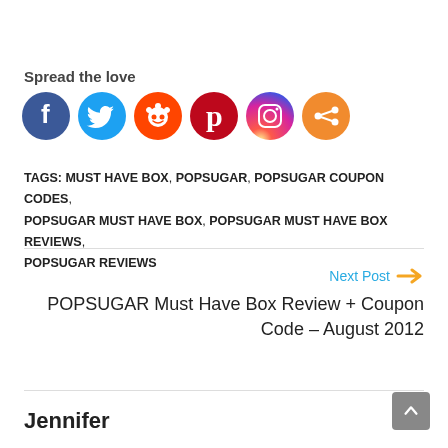Spread the love
[Figure (infographic): Social media share icons: Facebook (blue), Twitter (light blue), Reddit (orange-red), Pinterest (red), Instagram (gradient purple-orange), Share (orange)]
TAGS: MUST HAVE BOX, POPSUGAR, POPSUGAR COUPON CODES, POPSUGAR MUST HAVE BOX, POPSUGAR MUST HAVE BOX REVIEWS, POPSUGAR REVIEWS
Next Post →
POPSUGAR Must Have Box Review + Coupon Code – August 2012
Jennifer